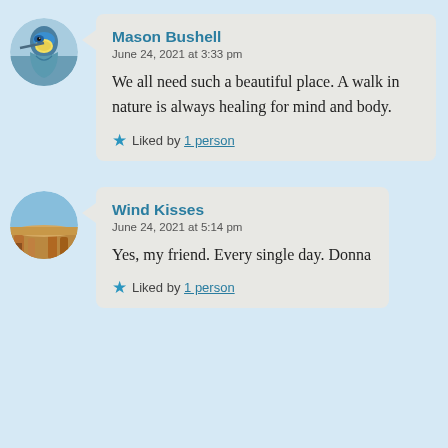[Figure (photo): Circular avatar photo of a blue tit bird perched on a branch]
Mason Bushell
June 24, 2021 at 3:33 pm

We all need such a beautiful place. A walk in nature is always healing for mind and body.

★ Liked by 1 person
[Figure (photo): Circular avatar photo of Monument Valley desert landscape]
Wind Kisses
June 24, 2021 at 5:14 pm

Yes, my friend. Every single day. Donna

★ Liked by 1 person